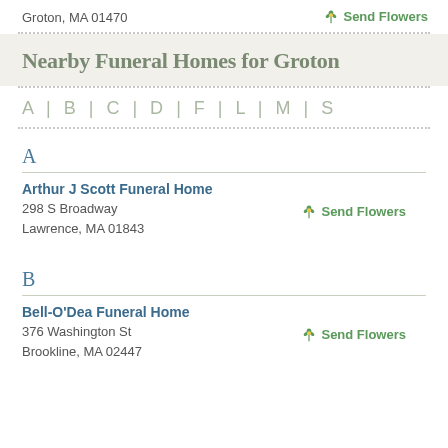Groton, MA 01470
Send Flowers
Nearby Funeral Homes for Groton
A | B | C | D | F | L | M | S
A
Arthur J Scott Funeral Home
298 S Broadway
Lawrence, MA 01843
Send Flowers
B
Bell-O'Dea Funeral Home
376 Washington St
Brookline, MA 02447
Send Flowers